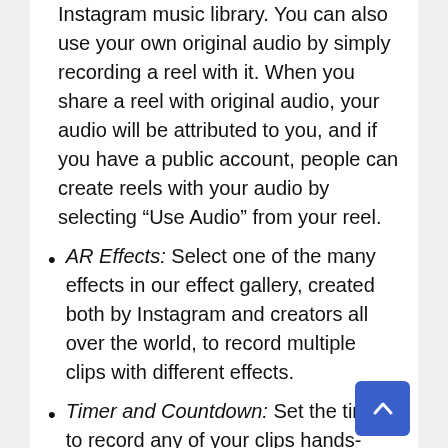Instagram music library. You can also use your own original audio by simply recording a reel with it. When you share a reel with original audio, your audio will be attributed to you, and if you have a public account, people can create reels with your audio by selecting “Use Audio” from your reel.
AR Effects: Select one of the many effects in our effect gallery, created both by Instagram and creators all over the world, to record multiple clips with different effects.
Timer and Countdown: Set the timer to record any of your clips hands-free. Once you press record, you’ll see a 3-2-1 countdown, before recording begins for